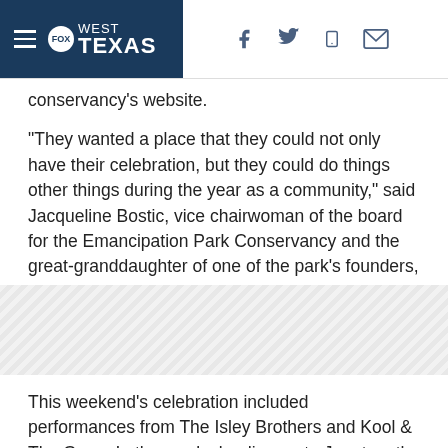FOX WEST TEXAS
conservancy's website.
“They wanted a place that they could not only have their celebration, but they could do things other things during the year as a community,” said Jacqueline Bostic, vice chairwoman of the board for the Emancipation Park Conservancy and the great-granddaughter of one of the park's founders, the Rev. Jack Yates.
[Figure (other): Advertisement placeholder with diagonal hatch pattern]
This weekend's celebration included performances from The Isley Brothers and Kool & The Gang. In the weeks leading up to Juneteenth, the park hosted discussions on